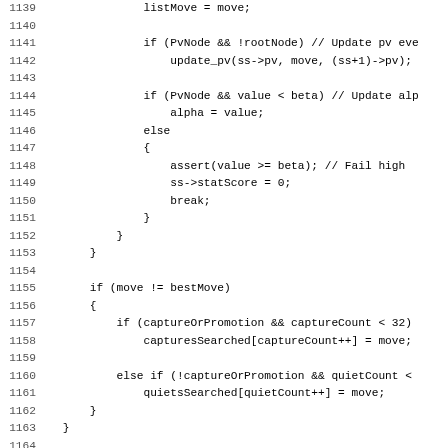[Figure (other): Source code listing (C++) lines 1139-1171 showing alpha-beta search logic with PvNode checks, update_pv calls, stat score updates, captures/quiets tracking, and a commented-out Threads.stop check.]